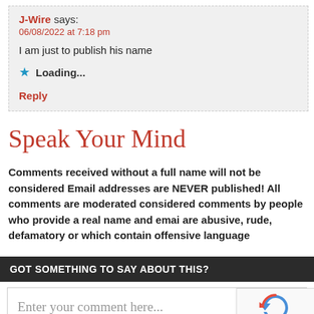J-Wire says: 06/08/2022 at 7:18 pm
I am just to publish his name
Loading...
Reply
Speak Your Mind
Comments received without a full name will not be considered Email addresses are NEVER published! All comments are moderated considered comments by people who provide a real name and email are abusive, rude, defamatory or which contain offensive language
GOT SOMETHING TO SAY ABOUT THIS?
Enter your comment here...